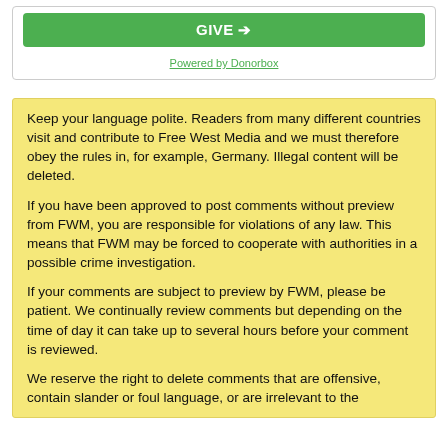[Figure (other): Green donate button widget with 'Powered by Donorbox' link below, inside a bordered white box]
Keep your language polite. Readers from many different countries visit and contribute to Free West Media and we must therefore obey the rules in, for example, Germany. Illegal content will be deleted.
If you have been approved to post comments without preview from FWM, you are responsible for violations of any law. This means that FWM may be forced to cooperate with authorities in a possible crime investigation.
If your comments are subject to preview by FWM, please be patient. We continually review comments but depending on the time of day it can take up to several hours before your comment is reviewed.
We reserve the right to delete comments that are offensive, contain slander or foul language, or are irrelevant to the